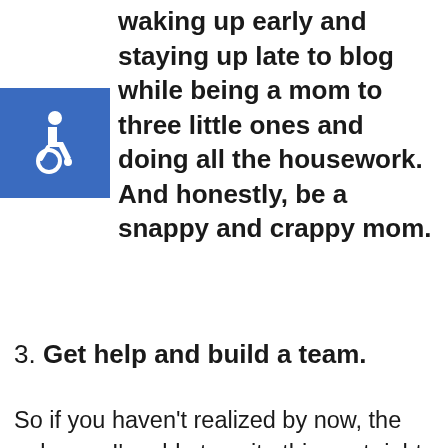waking up early and staying up late to blog while being a mom to three little ones and doing all the housework. And honestly, be a snappy and crappy mom.
[Figure (illustration): Blue square accessibility icon with white wheelchair symbol]
3. Get help and build a team.
So if you haven't realized by now, the only way I'm able to write this post right now, is because I've started to build my team! Not only is the blog bringing in an income to our family, it's starting to support two other families too! What a huge blessing is that!!